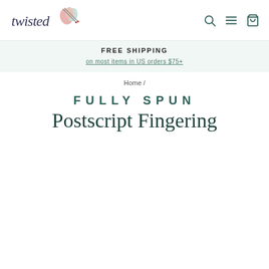[Figure (logo): Twisted yarn shop logo with stylized text 'twisted' and yarn skeins illustration]
FREE SHIPPING
on most items in US orders $75+
Home /
FULLY SPUN
Postscript Fingering